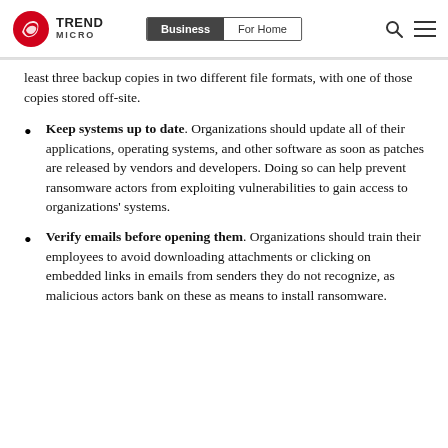Trend Micro | Business | For Home
least three backup copies in two different file formats, with one of those copies stored off-site.
Keep systems up to date. Organizations should update all of their applications, operating systems, and other software as soon as patches are released by vendors and developers. Doing so can help prevent ransomware actors from exploiting vulnerabilities to gain access to organizations' systems.
Verify emails before opening them. Organizations should train their employees to avoid downloading attachments or clicking on embedded links in emails from senders they do not recognize, as malicious actors bank on these as means to install ransomware.